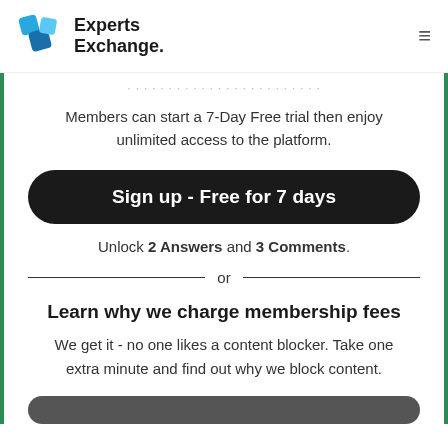Experts Exchange.
Members can start a 7-Day Free trial then enjoy unlimited access to the platform.
Sign up - Free for 7 days
Unlock 2 Answers and 3 Comments.
or
Learn why we charge membership fees
We get it - no one likes a content blocker. Take one extra minute and find out why we block content.